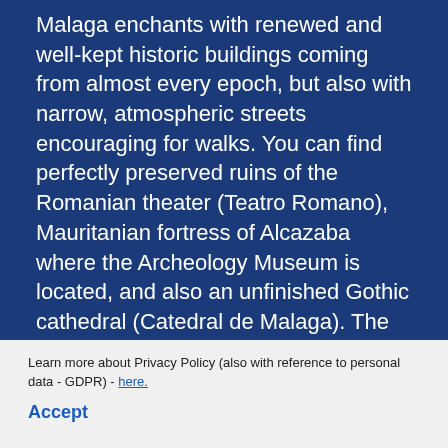Malaga enchants with renewed and well-kept historic buildings coming from almost every epoch, but also with narrow, atmospheric streets encouraging for walks. You can find perfectly preserved ruins of the Romanian theater (Teatro Romano), Mauritanian fortress of Alcazaba where the Archeology Museum is located, and also an unfinished Gothic cathedral (Catedral de Malaga). The city is overlooked by its biggest attraction, Castillo de Gibralfaro, with the most beautiful view of the sea and city center. The best time to go there is the evening – your experience will be remarkable!
Did you know that local beaches are one of the cleanest on Spanish shore? One of the biggest and most popular is Playa de La Malagueta located in the eastern part of the city. If you're seeking for appealing views, choose Las Acacias beach next to the Picasso promenade. Guadalmar beach is waiting for
Learn more about Privacy Policy (also with reference to personal data - GDPR) - here.
Accept